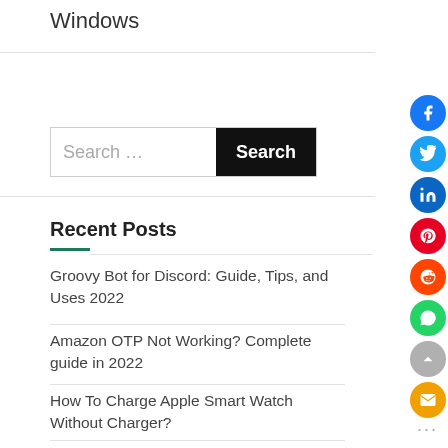Windows
[Figure (screenshot): Search bar with text input placeholder 'Search ...' and a black Search button]
Recent Posts
Groovy Bot for Discord: Guide, Tips, and Uses 2022
Amazon OTP Not Working? Complete guide in 2022
How To Charge Apple Smart Watch Without Charger?
16 best Mobdro alternatives with reviews